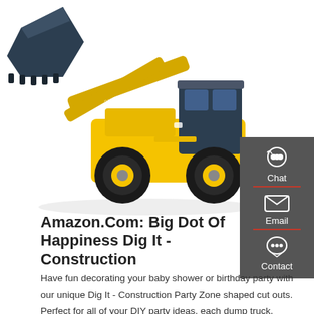[Figure (photo): Yellow front-end loader / wheel loader construction vehicle with dark blue cab and bucket raised, on white background]
[Figure (infographic): Dark gray sidebar panel on right side with three contact options: Chat (headset icon), Email (envelope icon), Contact (speech bubble icon), each separated by red horizontal dividers]
Amazon.Com: Big Dot Of Happiness Dig It - Construction
Have fun decorating your baby shower or birthday party with our unique Dig It - Construction Party Zone shaped cut outs. Perfect for all of your DIY party ideas, each dump truck,